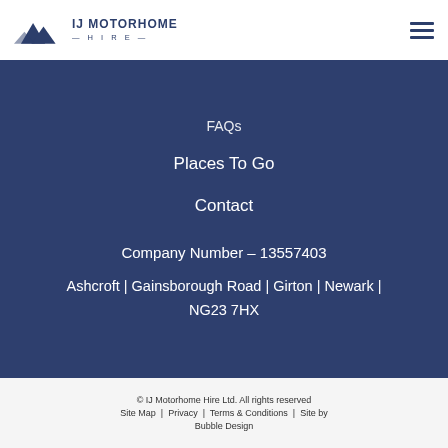[Figure (logo): IJ Motorhome Hire logo with mountain silhouette icon and text]
FAQs
Places To Go
Contact
Company Number – 13557403
Ashcroft | Gainsborough Road | Girton | Newark | NG23 7HX
© IJ Motorhome Hire Ltd. All rights reserved   Site Map  |  Privacy  |  Terms & Conditions  |  Site by Bubble Design